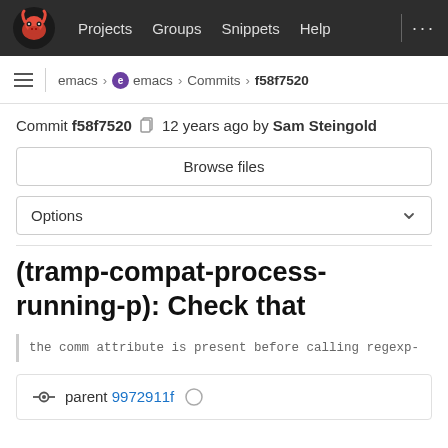Projects  Groups  Snippets  Help
emacs > emacs > Commits > f58f7520
Commit f58f7520  12 years ago by Sam Steingold
Browse files
Options
(tramp-compat-process-running-p): Check that
the comm attribute is present before calling regexp-
parent 9972911f